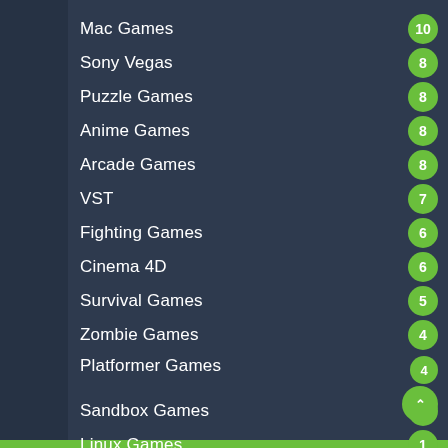Mac Games
Sony Vegas
Puzzle Games
Anime Games
Arcade Games
VST
Fighting Games
Cinema 4D
Survival Games
Zombie Games
Platformer Games
Sandbox Games
Linux Games